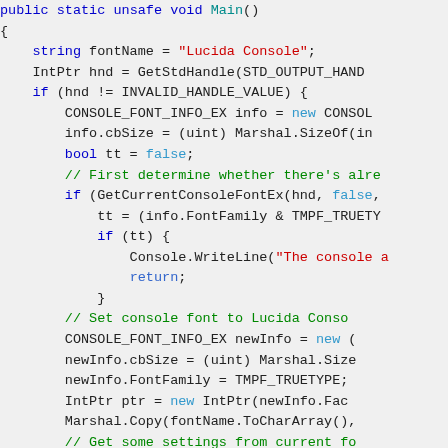[Figure (screenshot): C# source code snippet showing a public static unsafe void Main() method with console font manipulation code, syntax-highlighted in blue, teal, red, green, and black on a light gray background.]